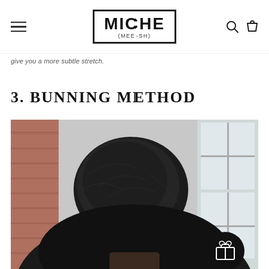MICHE (MEE-SH) — navigation header with hamburger menu, logo, search and cart icons
give you a more subtle stretch.
3. BUNNING METHOD
[Figure (photo): Back view of a person's head showing a hair bun hairstyle, with brick wall and window visible in the background. A gift/reward button icon is overlaid in the bottom right corner.]